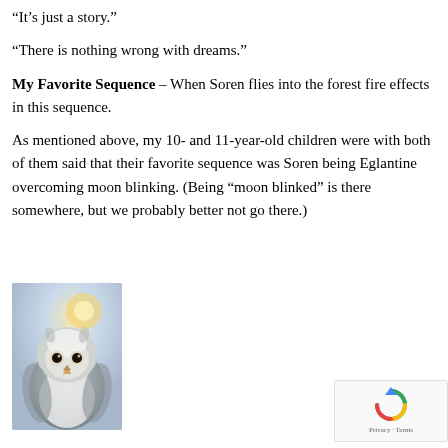“It’s just a story.”
“There is nothing wrong with dreams.”
My Favorite Sequence – When Soren flies into the forest fire effects in this sequence.
As mentioned above, my 10- and 11-year-old children were with both of them said that their favorite sequence was Soren being Eglantine overcoming moon blinking. (Being “moon blinked” is there somewhere, but we probably better not go there.)
[Figure (photo): Close-up photo of a young barn owl with fluffy white and grey feathers, large dark eyes, and a small beak, with a soft glowing background.]
[Figure (other): reCAPTCHA privacy widget showing a refresh/recycle icon and Privacy · Terms text]